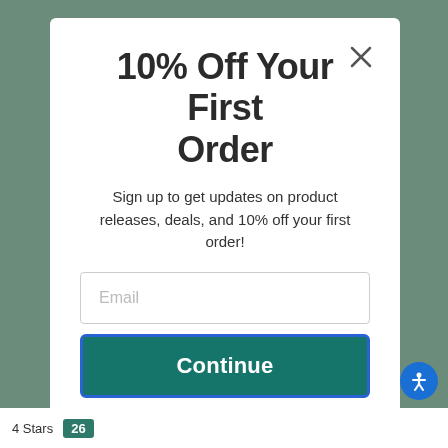10% Off Your First Order
Sign up to get updates on product releases, deals, and 10% off your first order!
Email
Continue
No Thanks